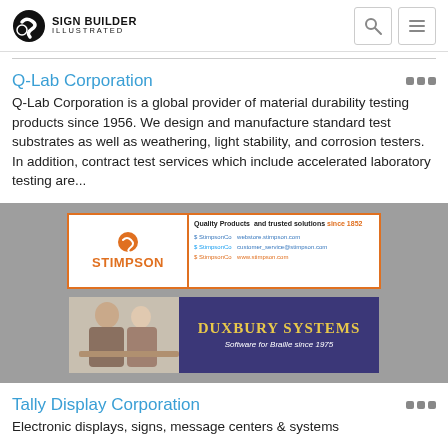Sign Builder Illustrated
Q-Lab Corporation
Q-Lab Corporation is a global provider of material durability testing products since 1956. We design and manufacture standard test substrates as well as weathering, light stability, and corrosion testers. In addition, contract test services which include accelerated laboratory testing are...
[Figure (advertisement): Stimpson banner ad: Quality Products and trusted solutions since 1852, with Stimpson logo and social/web contact info]
[Figure (advertisement): Duxbury Systems banner ad: Software for Braille since 1975, dark blue background with gold text, photo of people on left]
Tally Display Corporation
Electronic displays, signs, message centers & systems